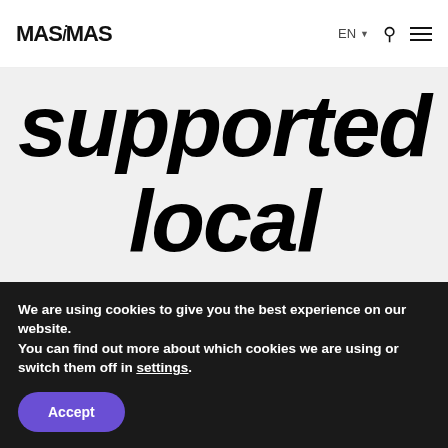MASiMAS | EN | Search | Menu
supported local artists at the same time
We are using cookies to give you the best experience on our website.
You can find out more about which cookies we are using or switch them off in settings.
Accept